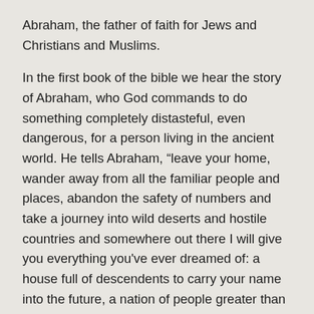Abraham, the father of faith for Jews and Christians and Muslims.
In the first book of the bible we hear the story of Abraham, who God commands to do something completely distasteful, even dangerous, for a person living in the ancient world. He tells Abraham, “leave your home, wander away from all the familiar people and places, abandon the safety of numbers and take a journey into wild deserts and hostile countries and somewhere out there I will give you everything you've ever dreamed of: a house full of descendents to carry your name into the future, a nation of people greater than all the stars in the sky."